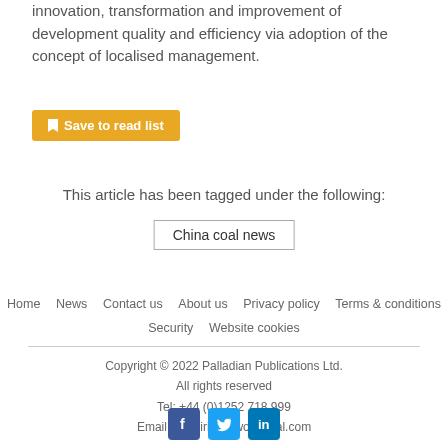innovation, transformation and improvement of development quality and efficiency via adoption of the concept of localised management.
Save to read list
This article has been tagged under the following:
China coal news
Home  News  Contact us  About us  Privacy policy  Terms & conditions  Security  Website cookies
Copyright © 2022 Palladian Publications Ltd. All rights reserved Tel: +44 (0)1252 718 999 Email: enquiries@worldcoal.com